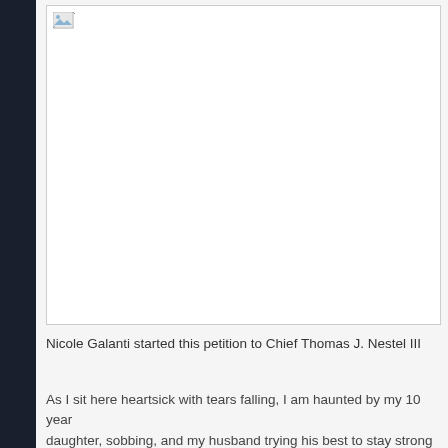[Figure (photo): A large white/blank image area with a broken image icon in the top-left corner]
Nicole Galanti started this petition to Chief Thomas J. Nestel III
As I sit here heartsick with tears falling, I am haunted by my 10 year daughter, sobbing, and my husband trying his best to stay strong for